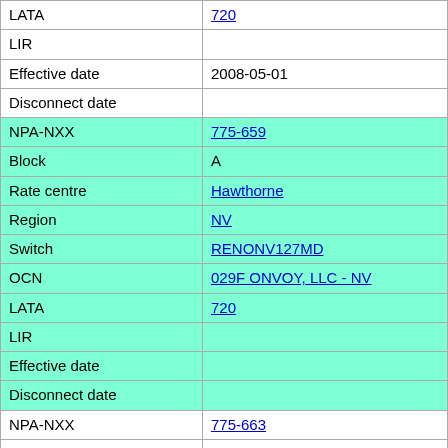| Field | Value |
| --- | --- |
| LATA | 720 |
| LIR |  |
| Effective date | 2008-05-01 |
| Disconnect date |  |
| NPA-NXX | 775-659 |
| Block | A |
| Rate centre | Hawthorne |
| Region | NV |
| Switch | RENONV127MD |
| OCN | 029F ONVOY, LLC - NV |
| LATA | 720 |
| LIR |  |
| Effective date |  |
| Disconnect date |  |
| NPA-NXX | 775-663 |
| Block | A |
| Rate centre | Wendover |
| Region | NV |
| Switch | WNDVUTMADS1 |
| OCN | 791D CENTRAL TELCOM SVCS DBA CENTRACOM INTERACTIVE - NV |